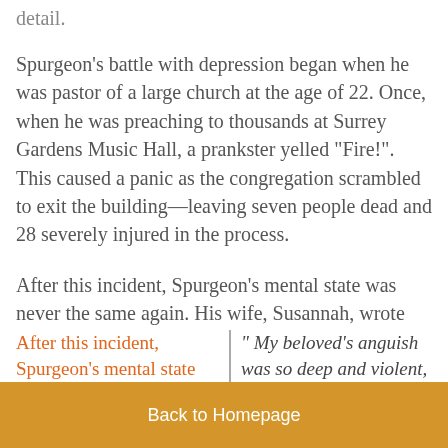detail.
Spurgeon’s battle with depression began when he was pastor of a large church at the age of 22. Once, when he was preaching to thousands at Surrey Gardens Music Hall, a prankster yelled “Fire!”. This caused a panic as the congregation scrambled to exit the building—leaving seven people dead and 28 severely injured in the process.
After this incident, Spurgeon’s mental state was never the same again. His wife, Susannah, wrote
After this incident, Spurgeon’s mental state
“ My beloved’s anguish was so deep and violent,
Back to Homepage